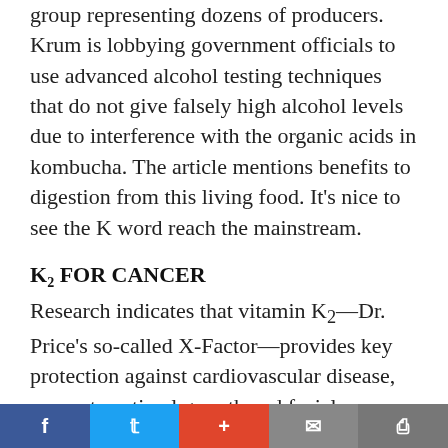group representing dozens of producers. Krum is lobbying government officials to use advanced alcohol testing techniques that do not give falsely high alcohol levels due to interference with the organic acids in kombucha. The article mentions benefits to digestion from this living food. It’s nice to see the K word reach the mainstream.
K2 FOR CANCER
Research indicates that vitamin K2—Dr. Price’s so-called X-Factor—provides key protection against cardiovascular disease, supports optimal growth and facial development, is vital for reproduction and supports brain